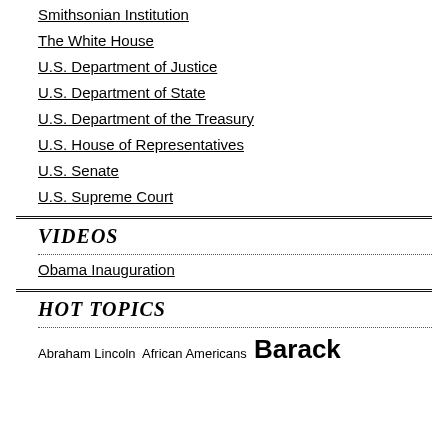Smithsonian Institution
The White House
U.S. Department of Justice
U.S. Department of State
U.S. Department of the Treasury
U.S. House of Representatives
U.S. Senate
U.S. Supreme Court
VIDEOS
Obama Inauguration
HOT TOPICS
Abraham Lincoln  African Americans  Barack